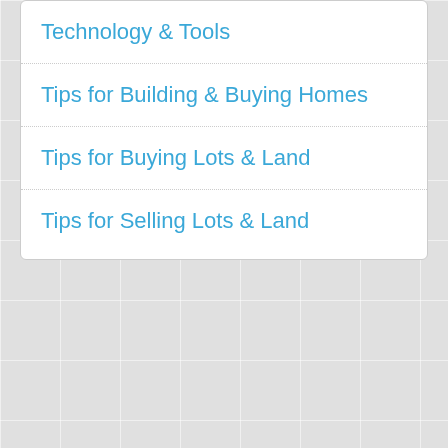Technology & Tools
Tips for Building & Buying Homes
Tips for Buying Lots & Land
Tips for Selling Lots & Land
View Index of Articles
Learn about advertising on LotNetwork.com